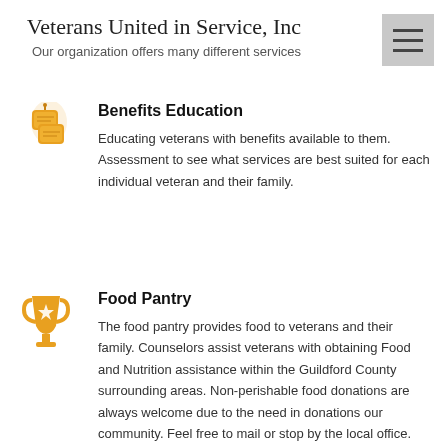Veterans United in Service, Inc
Our  organization offers many different services
Benefits Education
Educating veterans with benefits available to them. Assessment to see what services are best suited for each individual veteran and their family.
Food Pantry
The food pantry provides food to veterans and their family. Counselors assist veterans with obtaining Food and Nutrition assistance within the Guildford County surrounding areas. Non-perishable food donations are always welcome due to the need in donations our community. Feel free to mail or stop by the local office. Located at the Greensboro Depot Station 2nd Level: